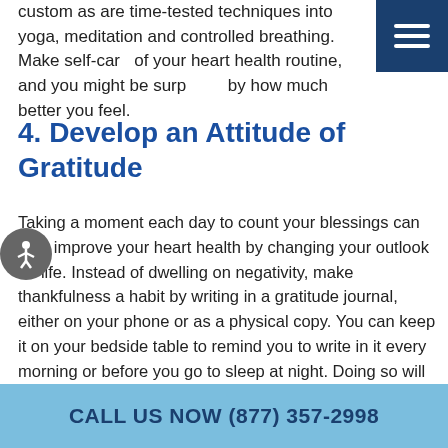…custom as are time-tested techniques into yoga, meditation and controlled breathing. Make self-care of your heart health routine, and you might be surprised by how much better you feel.
4. Develop an Attitude of Gratitude
Taking a moment each day to count your blessings can help improve your heart health by changing your outlook on life. Instead of dwelling on negativity, make thankfulness a habit by writing in a gratitude journal, either on your phone or as a physical copy. You can keep it on your bedside table to remind you to write in it every morning or before you go to sleep at night. Doing so will strengthen your positive attitude and help you feel more emotionally balanced.
CALL US NOW (877) 357-2998